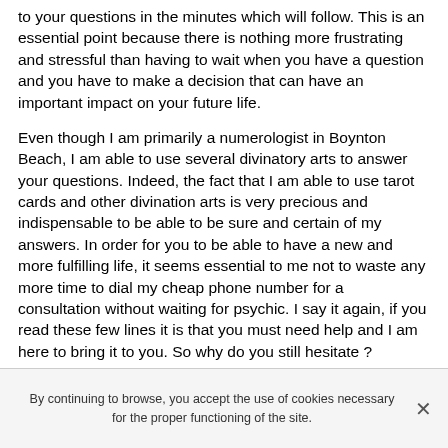to your questions in the minutes which will follow. This is an essential point because there is nothing more frustrating and stressful than having to wait when you have a question and you have to make a decision that can have an important impact on your future life.
Even though I am primarily a numerologist in Boynton Beach, I am able to use several divinatory arts to answer your questions. Indeed, the fact that I am able to use tarot cards and other divination arts is very precious and indispensable to be able to be sure and certain of my answers. In order for you to be able to have a new and more fulfilling life, it seems essential to me not to waste any more time to dial my cheap phone number for a consultation without waiting for psychic. I say it again, if you read these few lines it is that you must need help and I am here to bring it to you. So why do you still hesitate ?
By continuing to browse, you accept the use of cookies necessary for the proper functioning of the site.